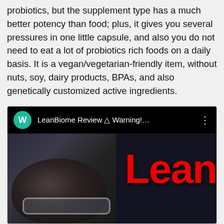probiotics, but the supplement type has a much better potency than food; plus, it gives you several pressures in one little capsule, and also you do not need to eat a lot of probiotics rich foods on a daily basis. It is a vegan/vegetarian-friendly item, without nuts, soy, dairy products, BPAs, and also genetically customized active ingredients.
[Figure (screenshot): YouTube video screenshot showing a channel avatar with letter W on a teal circle, title 'LeanBiome Review ⚠ Warning!...' with three-dot menu, and a thumbnail showing a man's face with glasses and large red text 'Lean' on a dark background.]